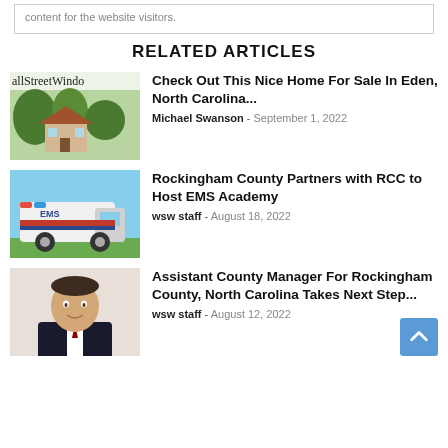content for the website visitors.
RELATED ARTICLES
[Figure (photo): Thumbnail image with WallStreetWindow logo text and a house with trees]
Check Out This Nice Home For Sale In Eden, North Carolina...
Michael Swanson - September 1, 2022
[Figure (photo): Thumbnail photo of an ambulance / EMS vehicle]
Rockingham County Partners with RCC to Host EMS Academy
wsw staff - August 18, 2022
[Figure (photo): Thumbnail portrait photo of a man in a suit]
Assistant County Manager For Rockingham County, North Carolina Takes Next Step...
wsw staff - August 12, 2022